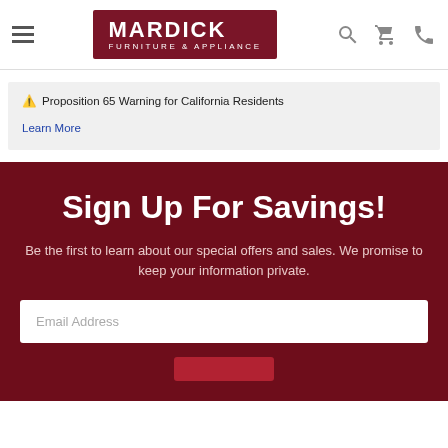Mardick Furniture & Appliance
⚠️ Proposition 65 Warning for California Residents
Learn More
Sign Up For Savings!
Be the first to learn about our special offers and sales. We promise to keep your information private.
Email Address